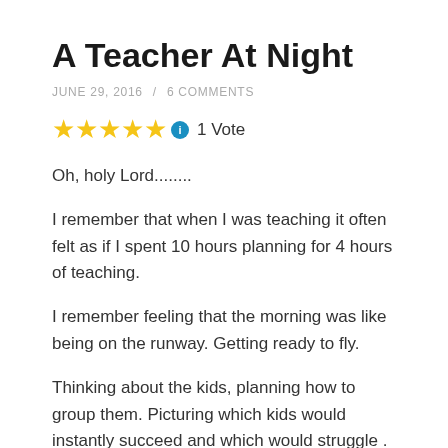A Teacher At Night
JUNE 29, 2016 / 6 COMMENTS
[Figure (other): 5 gold stars rating with info icon and '1 Vote' text]
Oh, holy Lord........
I remember that when I was teaching it often felt as if I spent 10 hours planning for 4 hours of teaching.
I remember feeling that the morning was like being on the runway. Getting ready to fly.
Thinking about the kids, planning how to group them. Picturing which kids would instantly succeed and which would struggle . Counting out the sets of cups, spoons, salt shakers, tips, dishes and hand lenses to